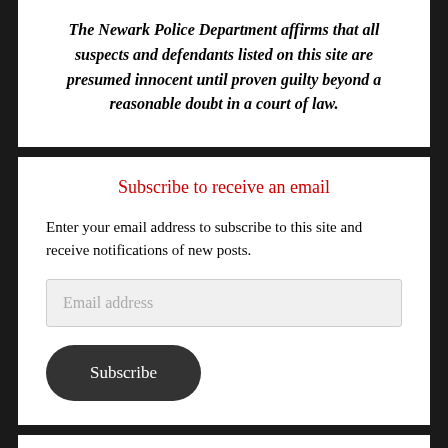The Newark Police Department affirms that all suspects and defendants listed on this site are presumed innocent until proven guilty beyond a reasonable doubt in a court of law.
Subscribe to receive an email
Enter your email address to subscribe to this site and receive notifications of new posts.